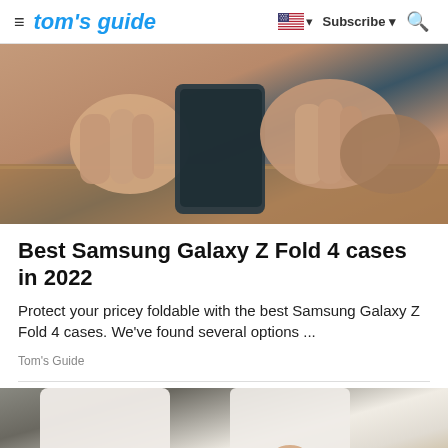tom's guide | Subscribe
[Figure (photo): Close-up photo of hands holding a Samsung Galaxy Z Fold 4 smartphone folded, placed on a wooden surface]
Best Samsung Galaxy Z Fold 4 cases in 2022
Protect your pricey foldable with the best Samsung Galaxy Z Fold 4 cases. We've found several options ...
Tom's Guide
[Figure (photo): Photo of a person's legs wearing white jeans and white espadrille sneakers on a stone pavement]